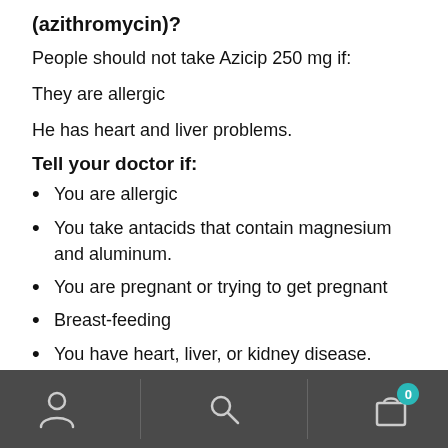(azithromycin)?
People should not take Azicip 250 mg if:
They are allergic
He has heart and liver problems.
Tell your doctor if:
You are allergic
You take antacids that contain magnesium and aluminum.
You are pregnant or trying to get pregnant
Breast-feeding
You have heart, liver, or kidney disease.
[Figure (other): Mobile app navigation bar with user icon, search icon, and shopping bag icon with badge showing 0]